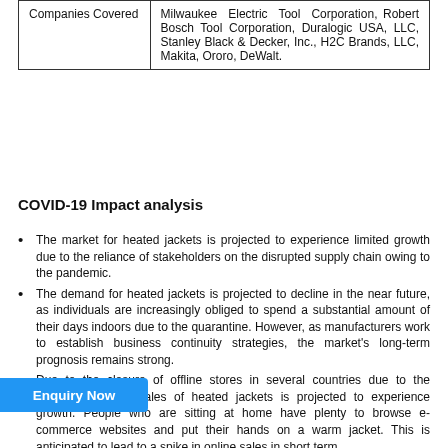|  |  |
| --- | --- |
| Companies Covered | Milwaukee Electric Tool Corporation, Robert Bosch Tool Corporation, Duralogic USA, LLC, Stanley Black & Decker, Inc., H2C Brands, LLC, Makita, Ororo, DeWalt. |
COVID-19 Impact analysis
The market for heated jackets is projected to experience limited growth due to the reliance of stakeholders on the disrupted supply chain owing to the pandemic.
The demand for heated jackets is projected to decline in the near future, as individuals are increasingly obliged to spend a substantial amount of their days indoors due to the quarantine. However, as manufacturers work to establish business continuity strategies, the market's long-term prognosis remains strong.
Due to the closure of offline stores in several countries due to the pandemic, online sales of heated jackets is projected to experience growth. People who are sitting at home have plenty to browse e-commerce websites and put their hands on a warm jacket. This is anticipated to lead to a spike in online sales in short term.